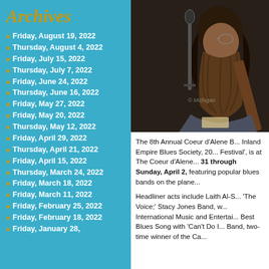Archives
Friday, August 19, 2022
Thursday, August 4, 2022
Friday, July 15, 2022
Thursday, July 7, 2022
Friday, June 24, 2022
Thursday, June 16, 2022
Friday, May 27, 2022
Friday, May 20, 2022
Thursday, May 12, 2022
Friday, April 29, 2022
Thursday, April 21, 2022
Friday, April 15, 2022
Thursday, March 24, 2022
Friday, March 18, 2022
Friday, March 11, 2022
Friday, February 25, 2022
Friday, February 18, 2022
Friday, January 28,
[Figure (photo): A bearded man playing guitar, close-up shot at a music event, dark background.]
The 8th Annual Coeur d'Alene B... Inland Empire Blues Society, 20... Festival', is at The Coeur d'Alene... 31 through Sunday, April 2, featuring popular blues bands on the plane...
Headliner acts include Laith Al-S... 'The Voice;' Stacy Jones Band, w... International Music and Entertai... Best Blues Song with 'Can't Do I... Band, two-time winner of the Ca...